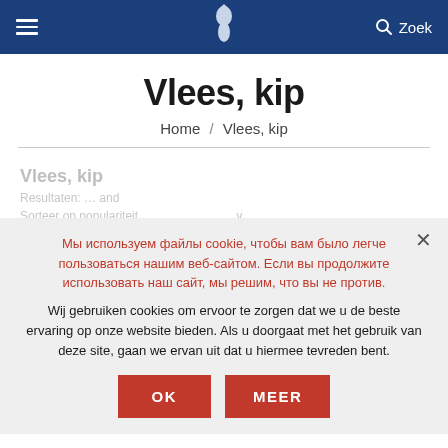Navigation header with hamburger menu, logo, and Zoek (search)
Vlees, kip
Home / Vlees, kip
Vlees, kip
Resultaten: ... and
Sorteer op populariteit.
Мы используем файлы cookie, чтобы вам было легче пользоваться нашим веб-сайтом. Если вы продолжите использовать наш сайт, мы решим, что вы не против.
Wij gebruiken cookies om ervoor te zorgen dat we u de beste ervaring op onze website bieden. Als u doorgaat met het gebruik van deze site, gaan we ervan uit dat u hiermee tevreden bent.
OK
MEER